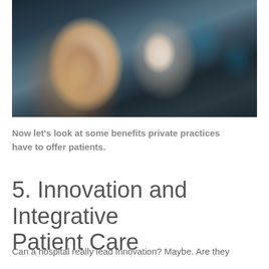[Figure (photo): A doctor or nurse in a white lab coat administering an injection or applying a bandage to a patient's arm. The patient is a man in a white shirt. Several people in teal/blue scrubs are watching in the background in a clinical setting.]
Now let's look at some benefits private practices have to offer patients.
5. Innovation and Integrative Patient Care
Can a hospital really lead innovation? Maybe. Are they the most the epitome of innovation in healthcare?